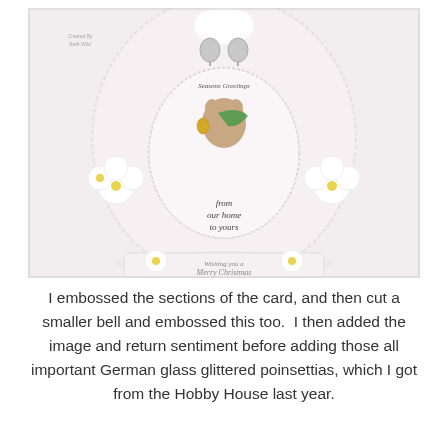[Figure (photo): A handmade Christmas bell-shaped card decorated with embossed sections, a circular stamped image of a mouse holding a bell with a green scarf and the text 'Seasons Greetings', a sentiment reading 'from our home to yours', white daisy flowers with yellow centers, and a base with 'Wishing you a Merry Christmas'. The card is pink/white and features ornate lace-style embossing. A small watermark reads 'Created By / Beth Wild'.]
I embossed the sections of the card, and then cut a smaller bell and embossed this too.  I then added the image and return sentiment before adding those all important German glass glittered poinsettias, which I got from the Hobby House last year.